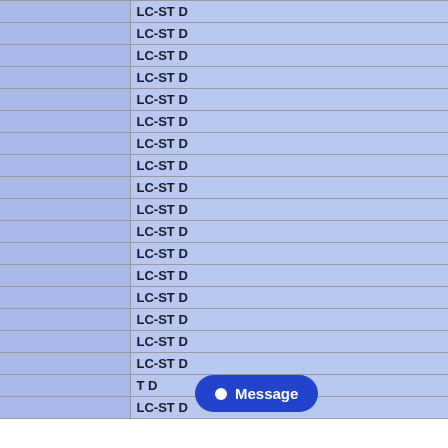| Part Number | Description |
| --- | --- |
| ATSV6A2P120M | LC-ST D |
| ATSV6A2P125M | LC-ST D |
| ATSV6A2P130M | LC-ST D |
| ATSV6A2P135M | LC-ST D |
| ATSV6A2P140M | LC-ST D |
| ATSV6A2P145M | LC-ST D |
| ATSV6A2P150M | LC-ST D |
| ATSV6A2P155M | LC-ST D |
| ATSV6A2P160M | LC-ST D |
| ATSV6A2P165M | LC-ST D |
| ATSV6A2P170M | LC-ST D |
| ATSV6A2P175M | LC-ST D |
| ATSV6A2P180M | LC-ST D |
| ATSV6A2P185M | LC-ST D |
| ATSV6A2P190M | LC-ST D |
| ATSV6A2P195M | LC-ST D |
| ATSV6A2P1000M | LC-ST D |
| ATSV62P... | ...T D |
| ATSV62P1500M | LC-ST D |